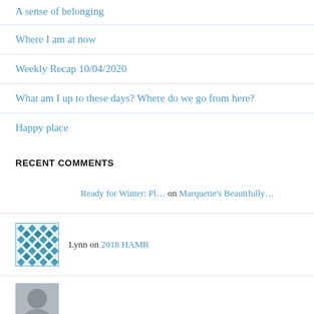A sense of belonging
Where I am at now
Weekly Recap 10/04/2020
What am I up to these days? Where do we go from here?
Happy place
RECENT COMMENTS
Ready for Winter: Pl… on Marquette's Beautifully…
Lynn on 2018 HAMR
[Figure (photo): Partial avatar photo at bottom]